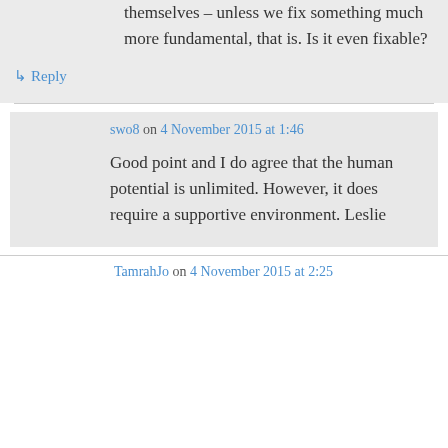themselves – unless we fix something much more fundamental, that is. Is it even fixable?
↳ Reply
swo8 on 4 November 2015 at 1:46
Good point and I do agree that the human potential is unlimited. However, it does require a supportive environment. Leslie
TamrahJo on 4 November 2015 at 2:25